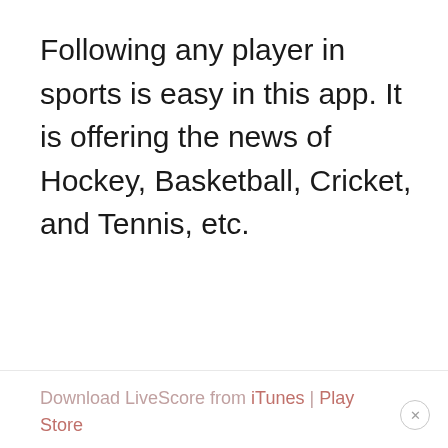Following any player in sports is easy in this app. It is offering the news of Hockey, Basketball, Cricket, and Tennis, etc.
Download LiveScore from iTunes | Play Store